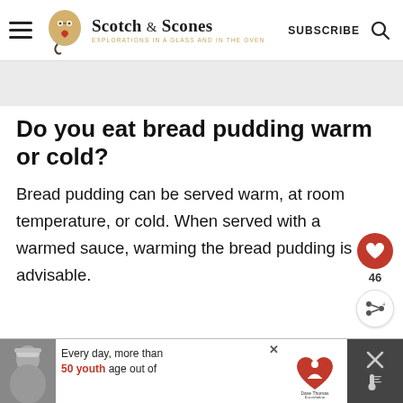Scotch & Scones — EXPLORATIONS IN A GLASS AND IN THE OVEN — SUBSCRIBE
Do you eat bread pudding warm or cold?
Bread pudding can be served warm, at room temperature, or cold. When served with a warmed sauce, warming the bread pudding is advisable.
[Figure (infographic): Advertisement banner: Every day, more than 50 youth age out of [Dave Thomas Foundation for Adoption logo]]